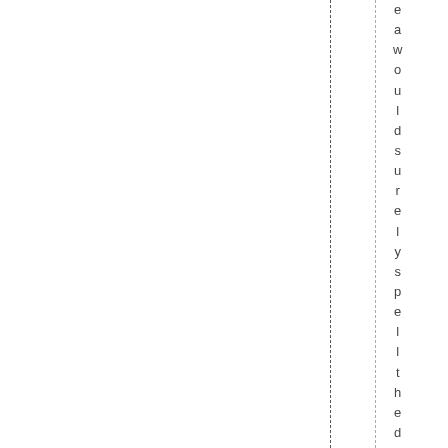e a w o u l d s u r e l y s p e l l t h e d e a t h o f t h